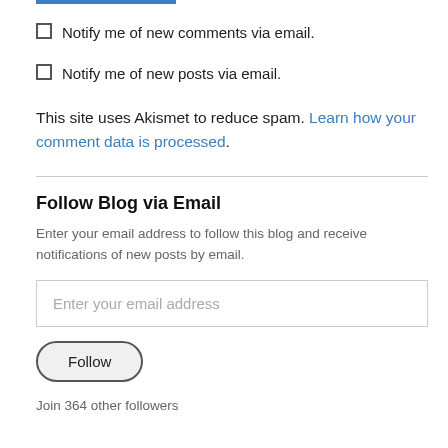Notify me of new comments via email.
Notify me of new posts via email.
This site uses Akismet to reduce spam. Learn how your comment data is processed.
Follow Blog via Email
Enter your email address to follow this blog and receive notifications of new posts by email.
Enter your email address
Follow
Join 364 other followers